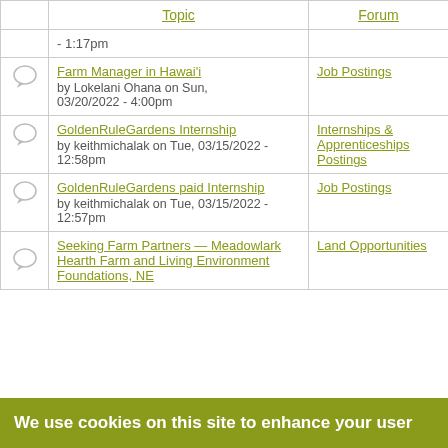|  | Topic | Forum |
| --- | --- | --- |
|  | [partial] - 1:17pm |  |
|  | Farm Manager in Hawai'i
by Lokelani Ohana on Sun, 03/20/2022 - 4:00pm | Job Postings |
|  | GoldenRuleGardens Internship
by keithmichalak on Tue, 03/15/2022 - 12:58pm | Internships & Apprenticeships Postings |
|  | GoldenRuleGardens paid Internship
by keithmichalak on Tue, 03/15/2022 - 12:57pm | Job Postings |
|  | Seeking Farm Partners — Meadowlark Hearth Farm and Living Environment Foundations, NE | Land Opportunities |
We use cookies on this site to enhance your user